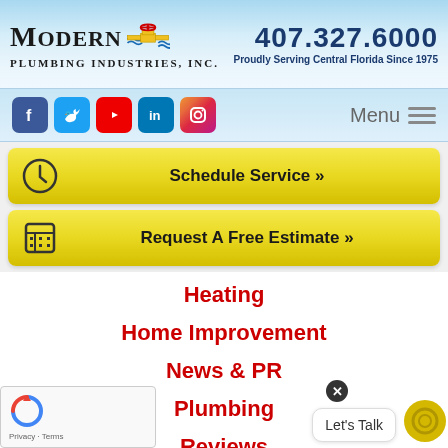[Figure (logo): Modern Plumbing Industries Inc. logo with valve graphic]
407.327.6000
Proudly Serving Central Florida Since 1975
[Figure (infographic): Social media icons: Facebook, Twitter, YouTube, LinkedIn, Instagram and Menu button]
Schedule Service »
Request A Free Estimate »
Heating
Home Improvement
News & PR
Plumbing
Reviews
Services
Uncategorized
Let's Talk
Privacy · Terms